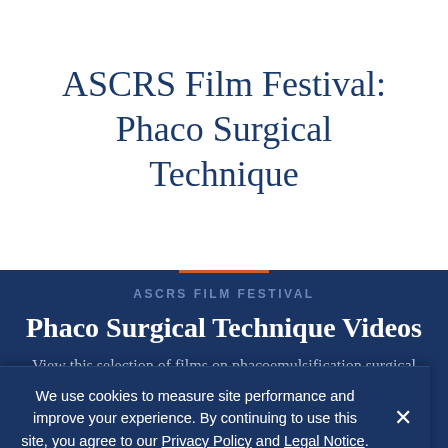ASCRS Film Festival: Phaco Surgical Technique
ASCRS FILM FESTIVAL
Phaco Surgical Technique Videos
View this selection of films on phacoemulsification surgical
We use cookies to measure site performance and improve your experience. By continuing to use this site, you agree to our Privacy Policy and Legal Notice.